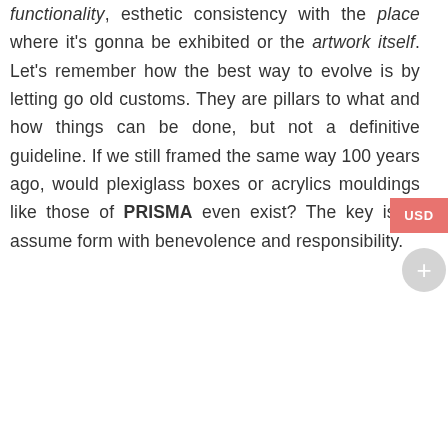functionality, esthetic consistency with the place where it's gonna be exhibited or the artwork itself. Let's remember how the best way to evolve is by letting go old customs. They are pillars to what and how things can be done, but not a definitive guideline. If we still framed the same way 100 years ago, would plexiglass boxes or acrylics mouldings like those of PRISMA even exist? The key is to assume form with benevolence and responsibility.